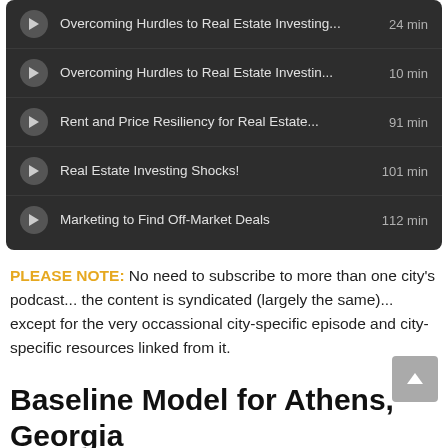Overcoming Hurdles to Real Estate Investing... 24 min
Overcoming Hurdles to Real Estate Investin... 10 min
Rent and Price Resiliency for Real Estate... 91 min
Real Estate Investing Shocks! 101 min
Marketing to Find Off-Market Deals 112 min
PLEASE NOTE: No need to subscribe to more than one city's podcast... the content is syndicated (largely the same)... except for the very occassional city-specific episode and city-specific resources linked from it.
Baseline Model for Athens, Georgia
Baseline - Earning $6,000 per month and buying